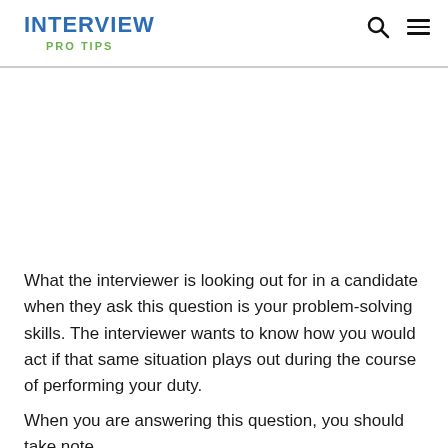INTERVIEW PRO TIPS
[Figure (other): Advertisement or blank space area below header]
What the interviewer is looking out for in a candidate when they ask this question is your problem-solving skills. The interviewer wants to know how you would act if that same situation plays out during the course of performing your duty.
When you are answering this question, you should take note